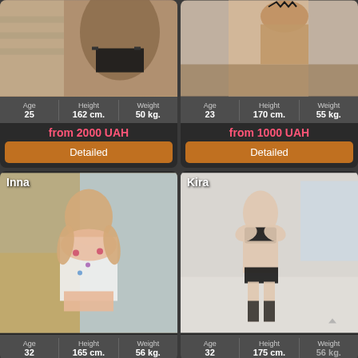[Figure (photo): Woman in black bikini bottom on stairs, top card left]
Age 25  Height 162 cm.  Weight 50 kg.
from 2000 UAH
Detailed
[Figure (photo): Woman in black lingerie, top card right]
Age 23  Height 170 cm.  Weight 55 kg.
from 1000 UAH
Detailed
[Figure (photo): Inna - woman in floral dress, bottom card left]
Age 32  Height 165 cm.  Weight 56 kg.
[Figure (photo): Kira - woman in black lingerie and stockings, bottom card right]
Age 32  Height 175 cm.  Weight 56 kg.